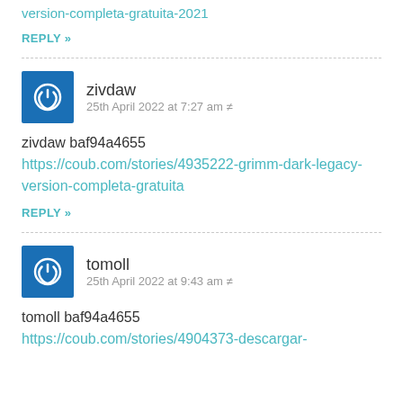https://coub.com/stories/4904422-heart-attack-version-completa-gratuita-2021
REPLY »
zivdaw
25th April 2022 at 7:27 am #
zivdaw baf94a4655
https://coub.com/stories/4935222-grimm-dark-legacy-version-completa-gratuita
REPLY »
tomoll
25th April 2022 at 9:43 am #
tomoll baf94a4655
https://coub.com/stories/4904373-descargar-